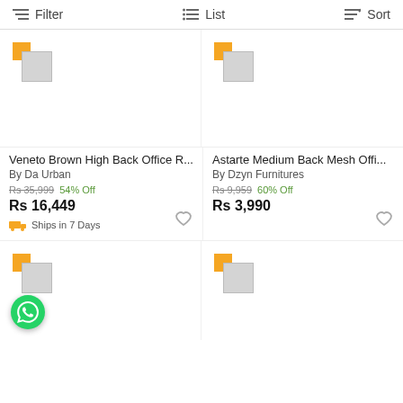Filter   List   Sort
[Figure (photo): Product image placeholder for Veneto Brown High Back Office R...]
Veneto Brown High Back Office R...
By Da Urban
Rs 35,999  54% Off
Rs 16,449
Ships in 7 Days
[Figure (photo): Product image placeholder for Astarte Medium Back Mesh Offi...]
Astarte Medium Back Mesh Offi...
By Dzyn Furnitures
Rs 9,959  60% Off
Rs 3,990
[Figure (photo): Product image placeholder - bottom left card]
[Figure (photo): Product image placeholder - bottom right card]